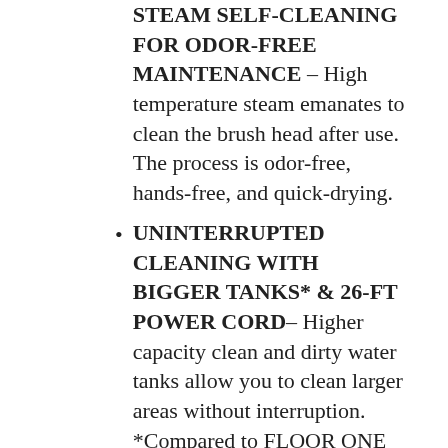STEAM SELF-CLEANING FOR ODOR-FREE MAINTENANCE – High temperature steam emanates to clean the brush head after use. The process is odor-free, hands-free, and quick-drying.
UNINTERRUPTED CLEANING WITH BIGGER TANKS* & 26-FT POWER CORD– Higher capacity clean and dirty water tanks allow you to clean larger areas without interruption. *Compared to FLOOR ONE S3